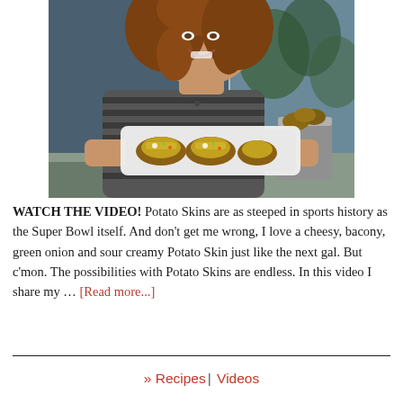[Figure (photo): A woman with curly brown hair, wearing a striped shirt, smiling and holding a white rectangular plate with loaded potato skins. In the background, there is a metal bucket with more potatoes and greenery visible through a window.]
WATCH THE VIDEO! Potato Skins are as steeped in sports history as the Super Bowl itself. And don't get me wrong, I love a cheesy, bacony, green onion and sour creamy Potato Skin just like the next gal. But c'mon. The possibilities with Potato Skins are endless. In this video I share my … [Read more...]
» Recipes | Videos